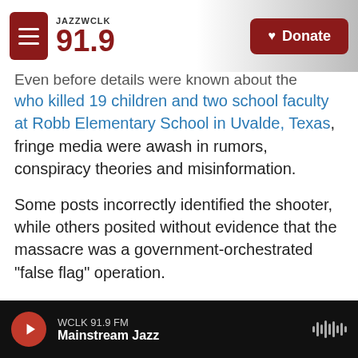JAZZ WCLK 91.9 | Donate
Even before details were known about the shooter who killed 19 children and two school faculty at Robb Elementary School in Uvalde, Texas, fringe media were awash in rumors, conspiracy theories and misinformation.
Some posts incorrectly identified the shooter, while others posited without evidence that the massacre was a government-orchestrated "false flag" operation.
With the tragic events following closely on the heels of another mass shooting in Buffalo, N.Y., the online discussions reverted to unfounded
WCLK 91.9 FM | Mainstream Jazz